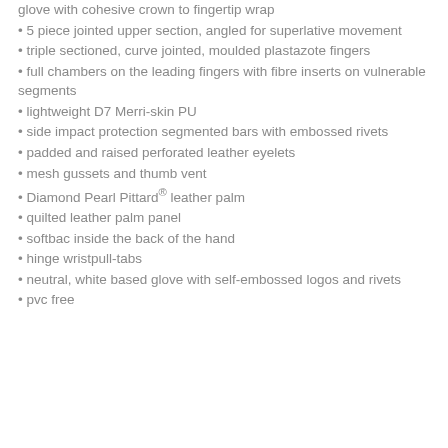glove with cohesive crown to fingertip wrap
5 piece jointed upper section, angled for superlative movement
triple sectioned, curve jointed, moulded plastazote fingers
full chambers on the leading fingers with fibre inserts on vulnerable segments
lightweight D7 Merri-skin PU
side impact protection segmented bars with embossed rivets
padded and raised perforated leather eyelets
mesh gussets and thumb vent
Diamond Pearl Pittard® leather palm
quilted leather palm panel
softbac inside the back of the hand
hinge wristpull-tabs
neutral, white based glove with self-embossed logos and rivets
pvc free